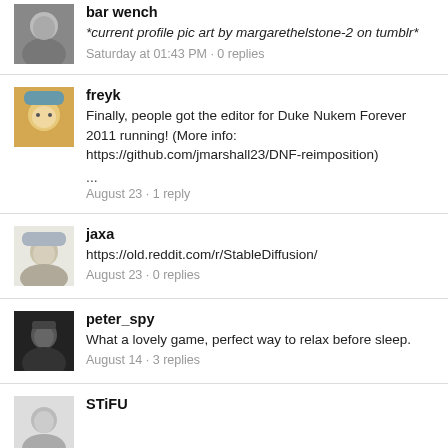bar wench
*current profile pic art by margarethelstone-2 on tumblr*
Saturday at 01:43 PM · 0 replies
freyk
Finally, people got the editor for Duke Nukem Forever 2011 running! (More info: https://github.com/jmarshall23/DNF-reimposition)
...
August 23 · 1 reply
jaxa
https://old.reddit.com/r/StableDiffusion/
August 23 · 0 replies
peter_spy
What a lovely game, perfect way to relax before sleep.
August 14 · 3 replies
STiFU